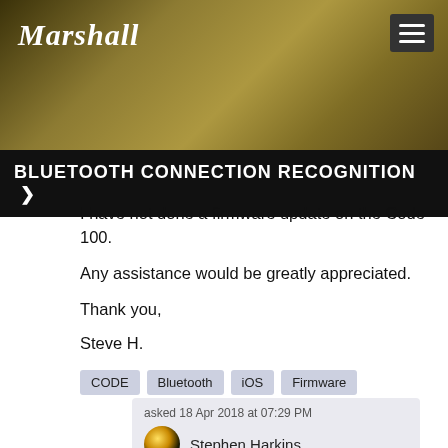[Figure (screenshot): Marshall amplifiers website header banner with guitar player background image in sepia/gold tones, Marshall logo on left, hamburger menu button on right]
BLUETOOTH CONNECTION RECOGNITION >
I have not done a firmware update on the Code 100.

Any assistance would be greatly appreciated.

Thank you,

Steve H.
CODE
Bluetooth
iOS
Firmware
asked 18 Apr 2018 at 07:29 PM
Stephen Harkins
Answers: 2